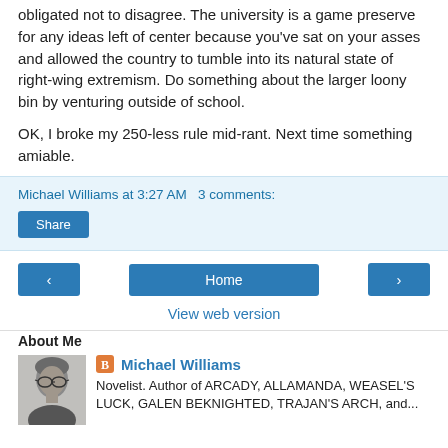obligated not to disagree. The university is a game preserve for any ideas left of center because you've sat on your asses and allowed the country to tumble into its natural state of right-wing extremism. Do something about the larger loony bin by venturing outside of school.
OK, I broke my 250-less rule mid-rant. Next time something amiable.
Michael Williams at 3:27 AM   3 comments:
Share
‹  Home  ›  View web version
About Me
[Figure (photo): Black and white photo of Michael Williams, a man with glasses and curly/wavy gray hair]
Michael Williams
Novelist. Author of ARCADY, ALLAMANDA, WEASEL'S LUCK, GALEN BEKNIGHTED, TRAJAN'S ARCH, and...